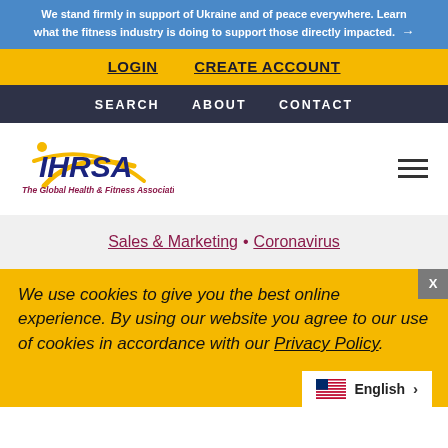We stand firmly in support of Ukraine and of peace everywhere. Learn what the fitness industry is doing to support those directly impacted. →
LOGIN   CREATE ACCOUNT
SEARCH   ABOUT   CONTACT
[Figure (logo): IHRSA logo with tagline The Global Health & Fitness Association]
Sales & Marketing · Coronavirus
We use cookies to give you the best online experience. By using our website you agree to our use of cookies in accordance with our Privacy Policy.